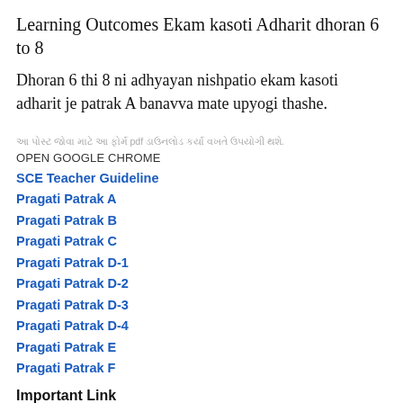Learning Outcomes Ekam kasoti Adharit dhoran 6 to 8
Dhoran 6 thi 8 ni adhyayan nishpatio ekam kasoti adharit je patrak A banavva mate upyogi thashe.
[Gujarati text] pdf [Gujarati text]. OPEN GOOGLE CHROME
SCE Teacher Guideline
Pragati Patrak A
Pragati Patrak B
Pragati Patrak C
Pragati Patrak D-1
Pragati Patrak D-2
Pragati Patrak D-3
Pragati Patrak D-4
Pragati Patrak E
Pragati Patrak F
Important Link
[Gujarati text] 6 thi 8 : Click here